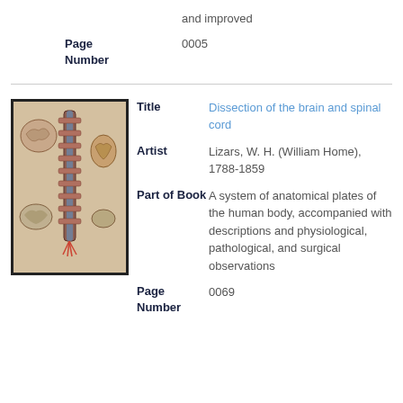and improved
| Page Number | 0005 |
[Figure (illustration): Anatomical illustration showing dissection of the brain and spinal cord; depicts spinal column structures and surrounding anatomical features in color on aged paper background.]
| Title | Dissection of the brain and spinal cord |
| Artist | Lizars, W. H. (William Home), 1788-1859 |
| Part of Book | A system of anatomical plates of the human body, accompanied with descriptions and physiological, pathological, and surgical observations |
| Page Number | 0069 |